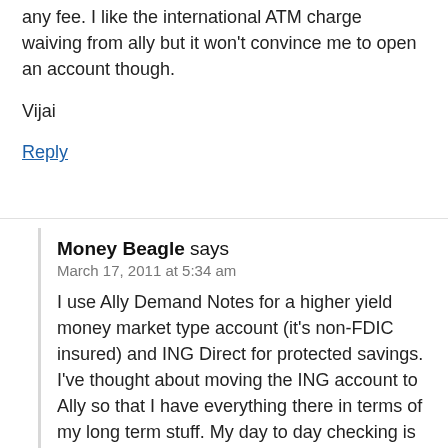any fee. I like the international ATM charge waiving from ally but it won't convince me to open an account though.
Vijai
Reply
Money Beagle says
March 17, 2011 at 5:34 am
I use Ally Demand Notes for a higher yield money market type account (it's non-FDIC insured) and ING Direct for protected savings. I've thought about moving the ING account to Ally so that I have everything there in terms of my long term stuff. My day to day checking is still at my local branch and changing that isn't happening anytime soon.